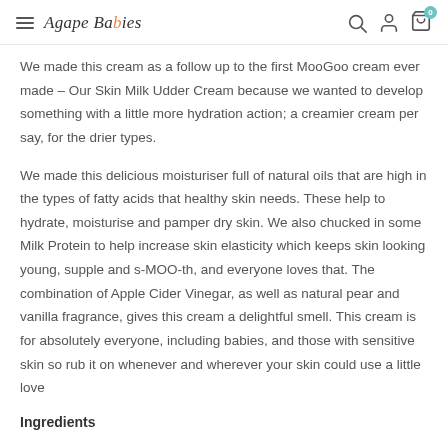Agape Babies
We made this cream as a follow up to the first MooGoo cream ever made – Our Skin Milk Udder Cream because we wanted to develop something with a little more hydration action; a creamier cream per say, for the drier types.
We made this delicious moisturiser full of natural oils that are high in the types of fatty acids that healthy skin needs. These help to hydrate, moisturise and pamper dry skin. We also chucked in some Milk Protein to help increase skin elasticity which keeps skin looking young, supple and s-MOO-th, and everyone loves that. The combination of Apple Cider Vinegar, as well as natural pear and vanilla fragrance, gives this cream a delightful smell. This cream is for absolutely everyone, including babies, and those with sensitive skin so rub it on whenever and wherever your skin could use a little love
Ingredients